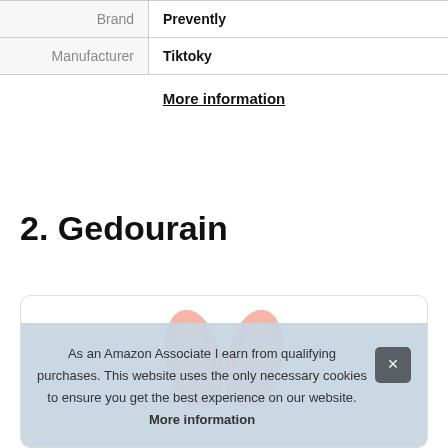| Brand | Prevently |
| Manufacturer | Tiktoky |
More information
2. Gedourain
[Figure (illustration): Product card with a pink bunny ears illustration at the top]
As an Amazon Associate I earn from qualifying purchases. This website uses the only necessary cookies to ensure you get the best experience on our website. More information